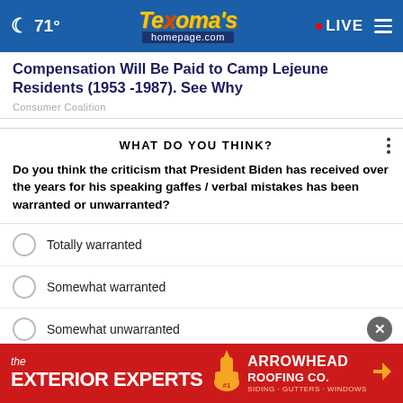☾ 71° — Texoma's homepage.com — LIVE
Compensation Will Be Paid to Camp Lejeune Residents (1953 -1987). See Why
Consumer Coalition
WHAT DO YOU THINK?
Do you think the criticism that President Biden has received over the years for his speaking gaffes / verbal mistakes has been warranted or unwarranted?
Totally warranted
Somewhat warranted
Somewhat unwarranted
(partially visible)
(partially visible)
[Figure (advertisement): The Exterior Experts — Arrowhead Roofing Co. advertisement banner in red with white and yellow text and a hand pointing up icon]